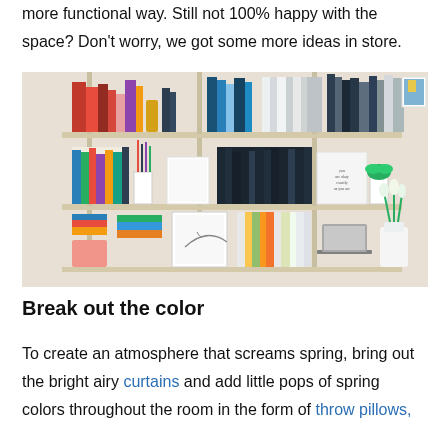more functional way. Still not 100% happy with the space? Don't worry, we got some more ideas in store.
[Figure (photo): A wall-mounted shelving unit with books, magazines, decorative items, plants, and a desk area with a laptop and white vase of tulips.]
Break out the color
To create an atmosphere that screams spring, bring out the bright airy curtains and add little pops of spring colors throughout the room in the form of throw pillows,